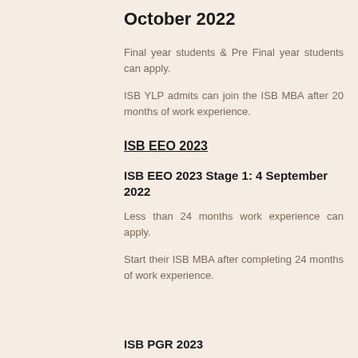October 2022
Final year students & Pre Final year students can apply.
ISB YLP admits can join the ISB MBA after 20 months of work experience.
ISB EEO 2023
ISB EEO 2023 Stage 1: 4 September 2022
Less than 24 months work experience can apply.
Start their ISB MBA after completing 24 months of work experience.
ISB PGR 2023